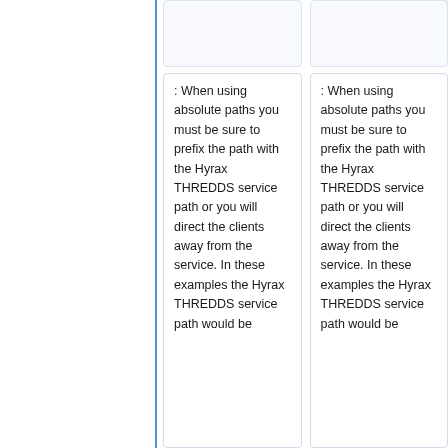: When using absolute paths you must be sure to prefix the path with the Hyrax THREDDS service path or you will direct the clients away from the service. In these examples the Hyrax THREDDS service path would be
: When using absolute paths you must be sure to prefix the path with the Hyrax THREDDS service path or you will direct the clients away from the service. In these examples the Hyrax THREDDS service path would be